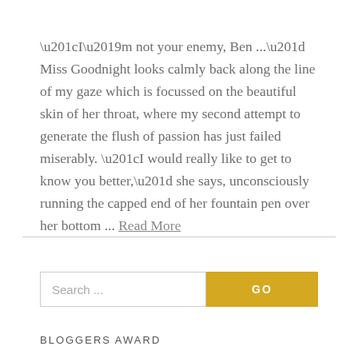“I’m not your enemy, Ben ...” Miss Goodnight looks calmly back along the line of my gaze which is focussed on the beautiful skin of her throat, where my second attempt to generate the flush of passion has just failed miserably. “I would really like to get to know you better,” she says, unconsciously running the capped end of her fountain pen over her bottom ... Read More
Search ...
GO
BLOGGERS AWARD